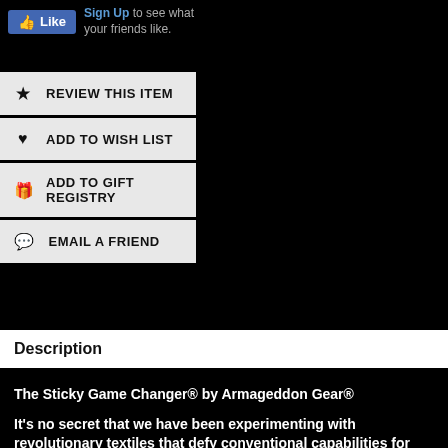[Figure (screenshot): Facebook Like button widget with 'Sign Up to see what your friends like.' text]
REVIEW THIS ITEM
ADD TO WISH LIST
ADD TO GIFT REGISTRY
EMAIL A FRIEND
Description
The Sticky Game Changer® by Armageddon Gear®
It's no secret that we have been experimenting with revolutionary textiles that defy conventional capabilities for durability and downright tackiness. So what happens when